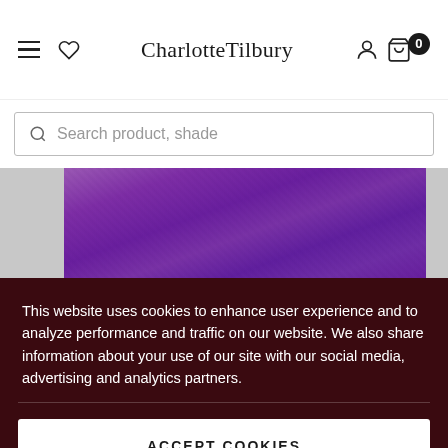CharlotteTilbury
Search product, shade
[Figure (photo): Partial view of a purple fabric or hat item on a grey background, with cookie consent overlay partially covering it.]
This website uses cookies to enhance user experience and to analyze performance and traffic on our website. We also share information about your use of our site with our social media, advertising and analytics partners.
ACCEPT COOKIES
DO NOT SELL MY PERSONAL INFORMATION